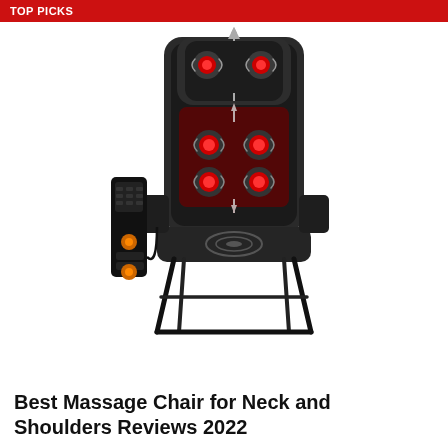TOP PICKS
[Figure (photo): A black massage chair with shiatsu nodes shown as red circular massagers on the back and neck area, with a remote control hanging on the left side. The chair has a folding metal frame and an armrest on the right. Arrows indicate massage movement directions on the backrest.]
Best Massage Chair for Neck and Shoulders Reviews 2022